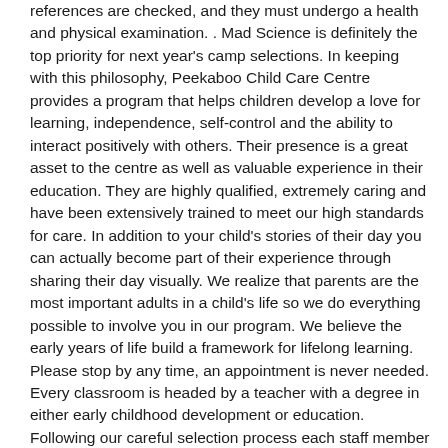references are checked, and they must undergo a health and physical examination. . Mad Science is definitely the top priority for next year's camp selections. In keeping with this philosophy, Peekaboo Child Care Centre provides a program that helps children develop a love for learning, independence, self-control and the ability to interact positively with others. Their presence is a great asset to the centre as well as valuable experience in their education. They are highly qualified, extremely caring and have been extensively trained to meet our high standards for care. In addition to your child's stories of their day you can actually become part of their experience through sharing their day visually. We realize that parents are the most important adults in a child's life so we do everything possible to involve you in our program. We believe the early years of life build a framework for lifelong learning. Please stop by any time, an appointment is never needed. Every classroom is headed by a teacher with a degree in either early childhood development or education. Following our careful selection process each staff member receives training and centre orientation before beginning work in the classroom. In addition to the Video Over the Internet capability of these centres, the viewing windows allow parents an excellent opportunity to view their child undisturbed by their parents presence. Please take a few moments every day to watch your child in action at our facility. Peekaboo